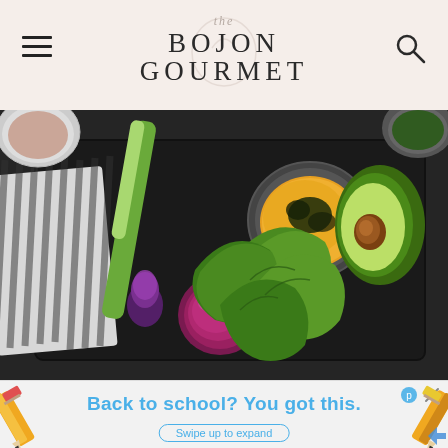the BOJON GOURMET
[Figure (photo): Overhead flat-lay food photography on a dark background showing a baking tray with lettuce/cabbage leaves, a halved avocado, a red onion, a leek, a bowl of golden/orange dip with dark herb garnish, a striped linen napkin, and a small bowl in the upper left corner]
[Figure (screenshot): Advertisement banner with pencil illustrations on either side and text: 'Back to school? You got this.' with a 'Swipe up to expand' button]